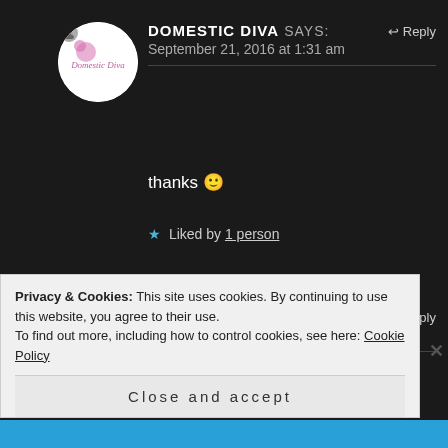[Figure (photo): Circular avatar for Domestic Diva with white background and logo text]
DOMESTIC DIVA says:
September 21, 2016 at 1:31 am
thanks 🙂
★ Liked by 1 person
[Figure (photo): Circular avatar showing a person in a pink/red outfit]
FLYINGCOLOURS603 says:
September 24, 2016 at 9:32 am
Privacy & Cookies: This site uses cookies. By continuing to use this website, you agree to their use.
To find out more, including how to control cookies, see here: Cookie Policy
Close and accept